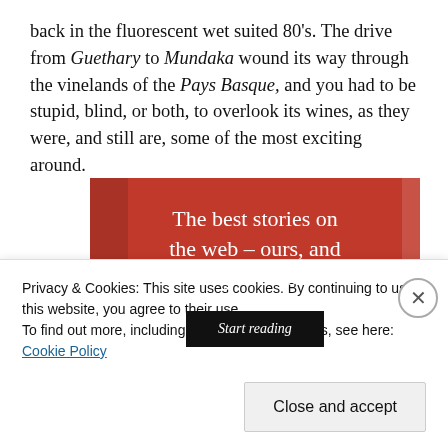back in the fluorescent wet suited 80's. The drive from Guethary to Mundaka wound its way through the vinelands of the Pays Basque, and you had to be stupid, blind, or both, to overlook its wines, as they were, and still are, some of the most exciting around.
[Figure (infographic): Red advertisement banner with white serif text reading 'The best stories on the web – ours, and everyone else's.' with a black 'Start reading' button.]
Privacy & Cookies: This site uses cookies. By continuing to use this website, you agree to their use.
To find out more, including how to control cookies, see here: Cookie Policy